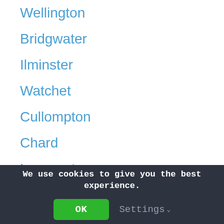Wellington
Bridgwater
Ilminster
Watchet
Cullompton
Chard
Langport
Honiton
South Petherton
We use cookies to give you the best experience.
OK
Settings